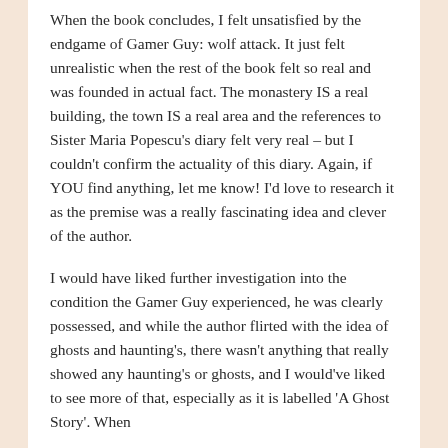When the book concludes, I felt unsatisfied by the endgame of Gamer Guy: wolf attack. It just felt unrealistic when the rest of the book felt so real and was founded in actual fact. The monastery IS a real building, the town IS a real area and the references to Sister Maria Popescu's diary felt very real – but I couldn't confirm the actuality of this diary. Again, if YOU find anything, let me know! I'd love to research it as the premise was a really fascinating idea and clever of the author.
I would have liked further investigation into the condition the Gamer Guy experienced, he was clearly possessed, and while the author flirted with the idea of ghosts and haunting's, there wasn't anything that really showed any haunting's or ghosts, and I would've liked to see more of that, especially as it is labelled 'A Ghost Story'. When